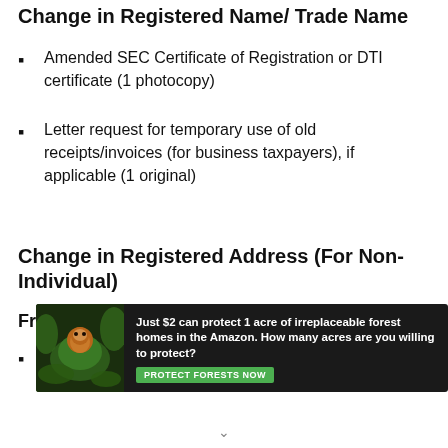Change in Registered Name/ Trade Name
Amended SEC Certificate of Registration or DTI certificate (1 photocopy)
Letter request for temporary use of old receipts/invoices (for business taxpayers), if applicable (1 original)
Change in Registered Address (For Non-Individual)
From Old RDO:
Inventory list of unused principal and supplementary receipts/invoices for destruction, if not to be used in
[Figure (other): Advertisement banner: rainforest conservation ad with orangutan photo, text 'Just $2 can protect 1 acre of irreplaceable forest homes in the Amazon. How many acres are you willing to protect?' with green 'PROTECT FORESTS NOW' button]